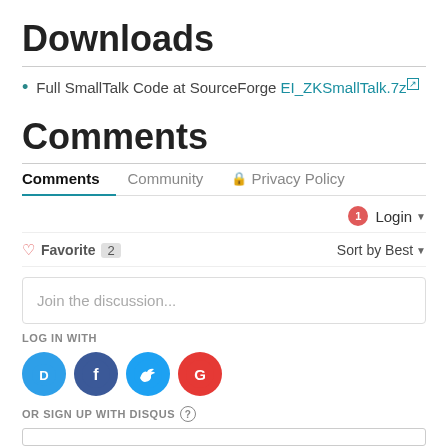Downloads
Full SmallTalk Code at SourceForge EI_ZKSmallTalk.7z
Comments
Comments  Community  Privacy Policy
Login
Favorite 2  Sort by Best
Join the discussion...
LOG IN WITH
[Figure (infographic): Social login icons: Disqus (blue speech bubble with D), Facebook (dark blue circle with f), Twitter (light blue circle with bird), Google (red circle with G)]
OR SIGN UP WITH DISQUS ?